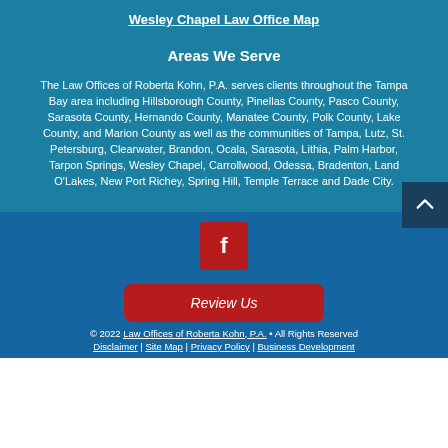Wesley Chapel Law Office Map
Areas We Serve
The Law Offices of Roberta Kohn, P.A. serves clients throughout the Tampa Bay area including Hillsborough County, Pinellas County, Pasco County, Sarasota County, Hernando County, Manatee County, Polk County, Lake County, and Marion County as well as the communities of Tampa, Lutz, St. Petersburg, Clearwater, Brandon, Ocala, Sarasota, Lithia, Palm Harbor, Tarpon Springs, Wesley Chapel, Carrollwood, Odessa, Bradenton, Land O'Lakes, New Port Richey, Spring Hill, Temple Terrace and Dade City.
[Figure (other): Facebook icon button (red square with white f)]
Review Us
© 2022 Law Offices of Roberta Kohn, P.A. • All Rights Reserved
Disclaimer | Site Map | Privacy Policy | Business Development